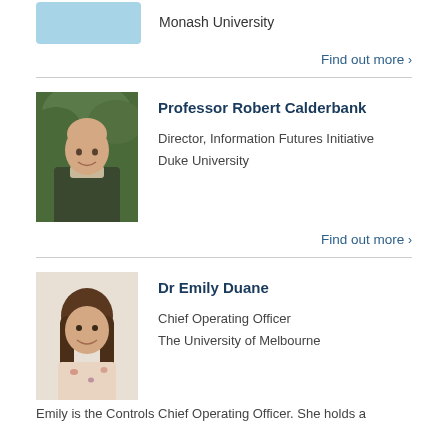[Figure (photo): Partial top of a profile photo (light blue placeholder) with text 'Monash University' beside it]
Monash University
Find out more >
[Figure (photo): Portrait photo of Professor Robert Calderbank, a middle-aged bald man smiling, wearing a dark green sweater, outdoors with green foliage background]
Professor Robert Calderbank
Director, Information Futures Initiative
Duke University
Find out more >
[Figure (photo): Portrait photo of Dr Emily Duane, a young woman with long brown hair, smiling, wearing a floral top, against a light background]
Dr Emily Duane
Chief Operating Officer
The University of Melbourne
Emily is the Controls Chief Operating Officer. She holds a